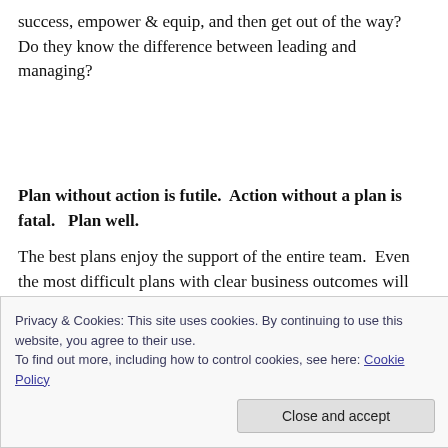success, empower & equip, and then get out of the way?  Do they know the difference between leading and managing?
Plan without action is futile.  Action without a plan is fatal.   Plan well.
The best plans enjoy the support of the entire team.  Even the most difficult plans with clear business outcomes will
Privacy & Cookies: This site uses cookies. By continuing to use this website, you agree to their use.
To find out more, including how to control cookies, see here: Cookie Policy
Close and accept